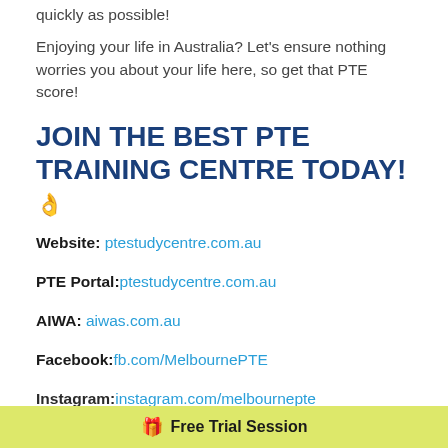quickly as possible!
Enjoying your life in Australia? Let's ensure nothing worries you about your life here, so get that PTE score!
JOIN THE BEST PTE TRAINING CENTRE TODAY! 👌
Website: ptestudycentre.com.au
PTE Portal: ptestudycentre.com.au
AIWA: aiwas.com.au
Facebook: fb.com/MelbournePTE
Instagram: instagram.com/melbournepte
🎁 Free Trial Session